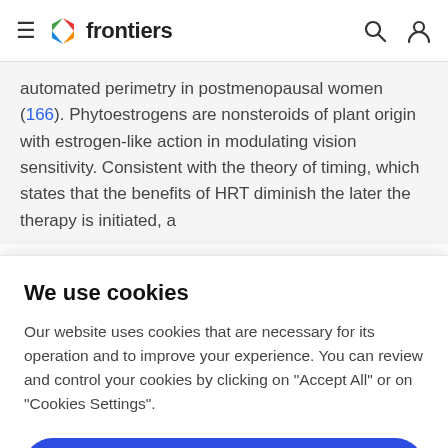frontiers
automated perimetry in postmenopausal women (166). Phytoestrogens are nonsteroids of plant origin with estrogen-like action in modulating vision sensitivity. Consistent with the theory of timing, which states that the benefits of HRT diminish the later the therapy is initiated, a
We use cookies
Our website uses cookies that are necessary for its operation and to improve your experience. You can review and control your cookies by clicking on "Accept All" or on "Cookies Settings".
Accept Cookies
Cookies Settings